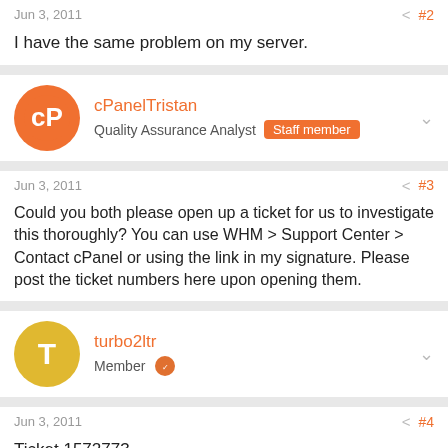Jun 3, 2011   < #2
I have the same problem on my server.
cPanelTristan
Quality Assurance Analyst  Staff member
Jun 3, 2011   < #3
Could you both please open up a ticket for us to investigate this thoroughly? You can use WHM > Support Center > Contact cPanel or using the link in my signature. Please post the ticket numbers here upon opening them.
turbo2ltr
Member
Jun 3, 2011   < #4
Ticket 1572773